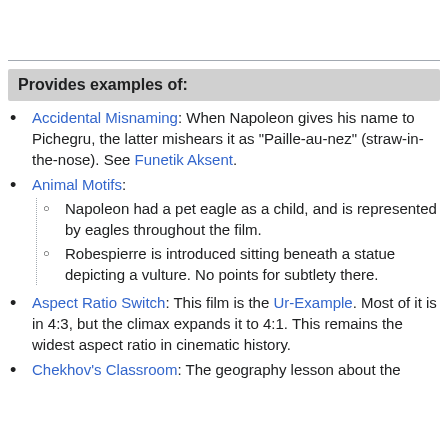Provides examples of:
Accidental Misnaming: When Napoleon gives his name to Pichegru, the latter mishears it as "Paille-au-nez" (straw-in-the-nose). See Funetik Aksent.
Animal Motifs:
Napoleon had a pet eagle as a child, and is represented by eagles throughout the film.
Robespierre is introduced sitting beneath a statue depicting a vulture. No points for subtlety there.
Aspect Ratio Switch: This film is the Ur-Example. Most of it is in 4:3, but the climax expands it to 4:1. This remains the widest aspect ratio in cinematic history.
Chekhov's Classroom: The geography lesson about the